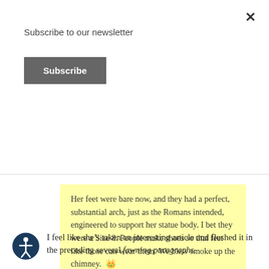Subscribe to our newsletter
Subscribe
way too make a buck.
August 06, 2018 at 01:40PM
Her feet were bare now, and they had a perfect, substantial arch, just as the Romans intended, engineered to support her statue body. I bet they were a Size 8. People make shoes so that feet like those can wear them. We blew smoke up the chimney.
I feel like she’s taken an interesting article and flushed it in the preceding several fawning paragraphs.